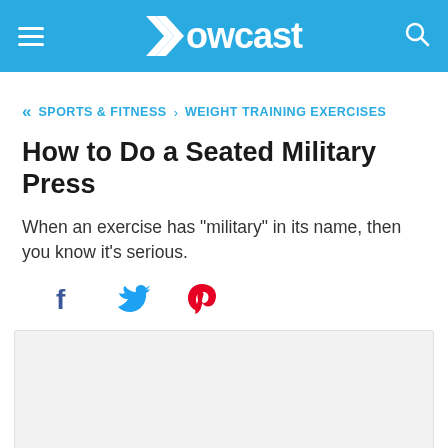Howcast
SPORTS & FITNESS > WEIGHT TRAINING EXERCISES
How to Do a Seated Military Press
When an exercise has "military" in its name, then you know it's serious.
[Figure (other): Social share icons: Facebook, Twitter, Pinterest]
[Figure (other): Video placeholder area, light gray background]